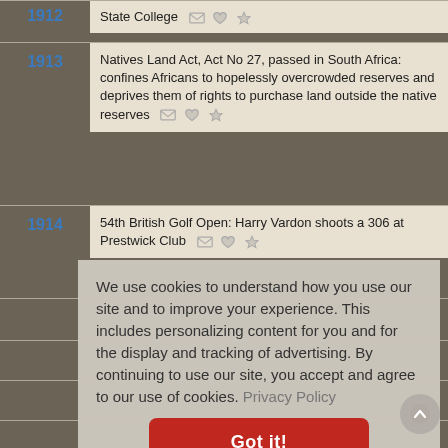1912 - State College
1913 - Natives Land Act, Act No 27, passed in South Africa: confines Africans to hopelessly overcrowded reserves and deprives them of rights to purchase land outside the native reserves
1914 - 54th British Golf Open: Harry Vardon shoots a 306 at Prestwick Club
We use cookies to understand how you use our site and to improve your experience. This includes personalizing content for you and for the display and tracking of advertising. By continuing to use our site, you accept and agree to our use of cookies. Privacy Policy
Got it!